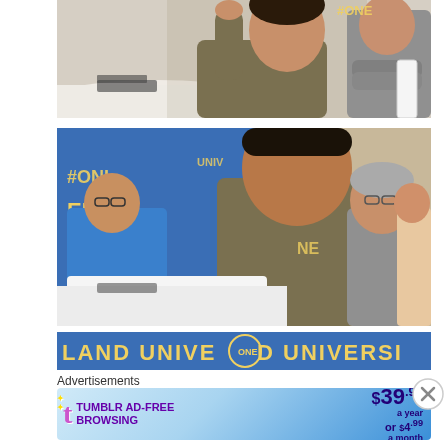[Figure (photo): Indoor event photo: man in olive/khaki suit gesturing with raised hand at a round table with white tablecloth; another man in gray suit seen at right in a white chair; background shows a room with white tables]
[Figure (photo): Indoor event photo: man in center in olive/khaki suit seated at table, man at left in blue shirt seated in front of #ONE #ELIU blue banner, older man in gray suit at right, woman visible in background; setting appears to be a roundtable discussion]
[Figure (photo): Partial banner image showing text: LAND UNIVE D UNIVERSI in yellow on blue background, with a circular logo partially visible]
Advertisements
[Figure (infographic): Tumblr advertisement banner: 'TUMBLR AD-FREE BROWSING $39.99 a year or $4.99 a month' with Tumblr 't' logo and star graphics on blue gradient background]